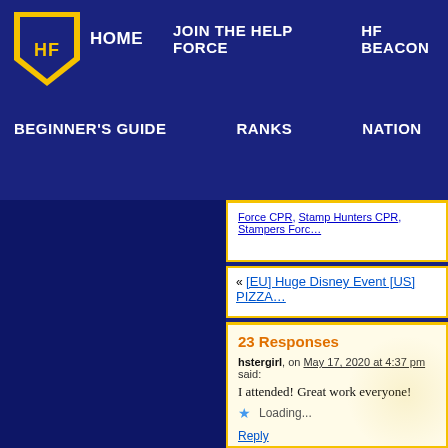HOME | JOIN THE HELP FORCE | HF BEACON | BEGINNER'S GUIDE | RANKS | NATION | HALL OF FAME | HISTORY
Force CPR, Stamp Hunters CPR, Stampers Forc…
« [EU] Huge Disney Event [US] PIZZA…
23 Responses
hstergirl, on May 17, 2020 at 4:37 pm said:
I attended! Great work everyone!
★ Loading...
Reply
Janez, on May 17, 2020 at 4:37 pm said: